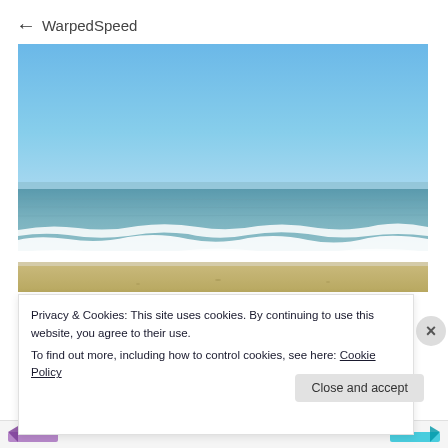WarpedSpeed
[Figure (photo): Beach scene with ocean waves and sandy shore under a clear blue sky]
Privacy & Cookies: This site uses cookies. By continuing to use this website, you agree to their use.
To find out more, including how to control cookies, see here: Cookie Policy
Close and accept